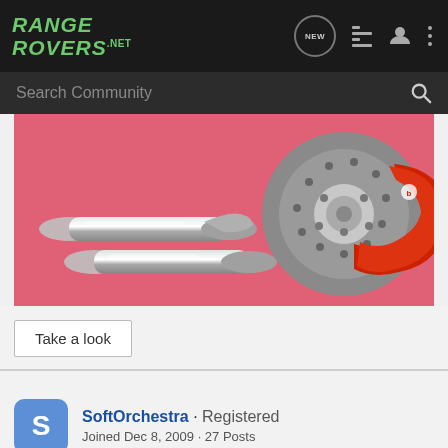[Figure (screenshot): RangeRovers.net website header with dark navigation bar showing logo, NEW chat icon, list icon, user icon, and three-dot menu icon]
[Figure (screenshot): Search Community input bar with magnifying glass icon on dark background]
[Figure (photo): Banner advertisement on pink background showing chrome exhaust pipes on left and red Brembo brake caliper with drilled rotor on right]
Take a look
SoftOrchestra · Registered
Joined Dec 8, 2009 · 27 Posts